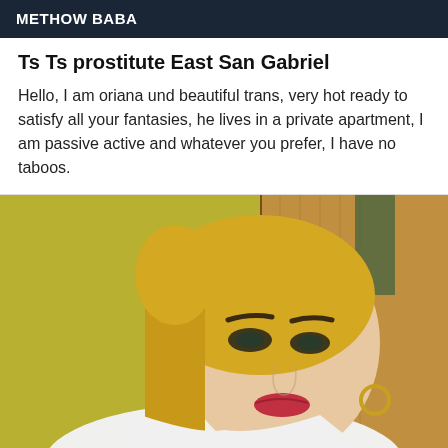METHOW BABA
Ts Ts prostitute East San Gabriel
Hello, I am oriana und beautiful trans, very hot ready to satisfy all your fantasies, he lives in a private apartment, I am passive active and whatever you prefer, I have no taboos.
[Figure (photo): Selfie of a blonde person with heavy eye makeup, red lipstick, gold hoop earring, wearing white clothing, photographed in a room with yellow-green walls and wood paneling]